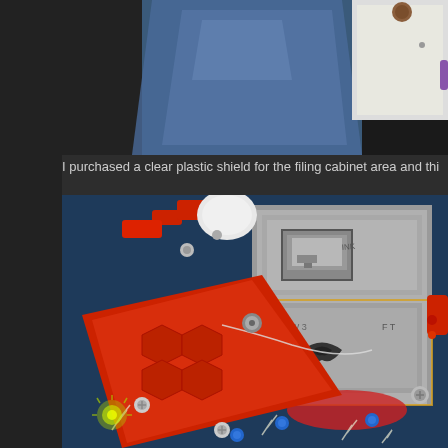[Figure (photo): Close-up photo of pinball machine components showing blue plastic ramp/guide and hardware parts against dark background]
I purchased a clear plastic shield for the filing cabinet area and thi
[Figure (photo): Close-up photo of pinball machine playfield showing red plastic components (flippers/ramps), filing cabinet toy with drawer art, bolts, and lightning bolt artwork on blue playfield surface. A clear plastic shield is visible overlaying the filing cabinet area.]